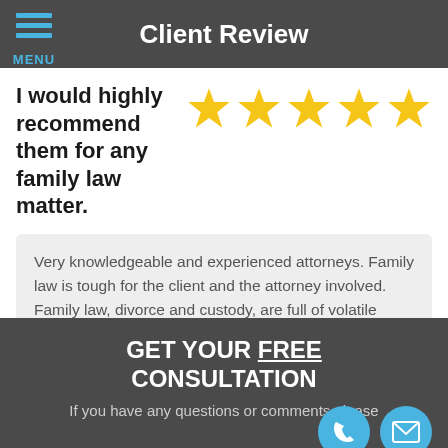Client Review
I would highly recommend them for any family law matter.
[Figure (other): Five gold stars rating]
Very knowledgeable and experienced attorneys. Family law is tough for the client and the attorney involved. Family law, divorce and custody, are full of volatile emotions. Chuck... read more
- Carrie Walker
GET YOUR FREE CONSULTATION
If you have any questions or comments please